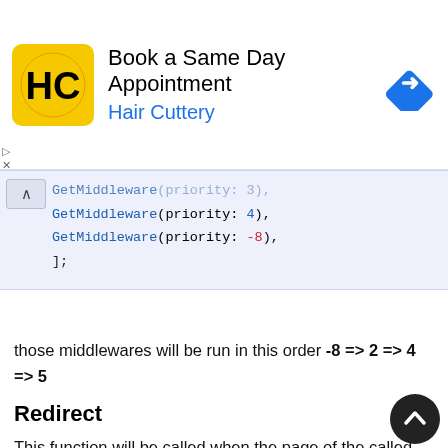[Figure (other): Hair Cuttery advertisement banner with logo, 'Book a Same Day Appointment' text, and navigation arrow icon]
GetMiddleware(priority: 3),
    GetMiddleware(priority: 4),
    GetMiddleware(priority: -8),
];
those middlewares will be run in this order -8 => 2 => 4 => 5
Redirect
This function will be called when the page of the called route is being searched for. It takes RouteSettings as a result to redirect to. Or give it null and there will be no redirecting.
SetPage redirect(…) {